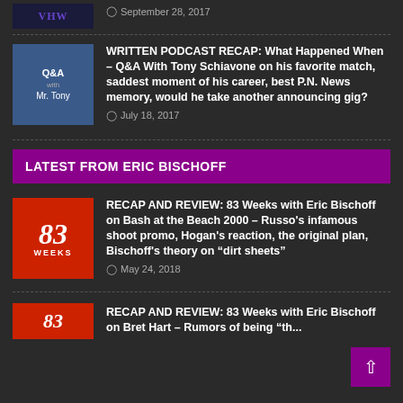[Figure (photo): Thumbnail image for VHW article, September 28 2017]
September 28, 2017
[Figure (photo): Thumbnail image for Q&A with Mr. Tony article]
WRITTEN PODCAST RECAP: What Happened When – Q&A With Tony Schiavone on his favorite match, saddest moment of his career, best P.N. News memory, would he take another announcing gig?
July 18, 2017
LATEST FROM ERIC BISCHOFF
[Figure (photo): 83 Weeks podcast logo thumbnail]
RECAP AND REVIEW: 83 Weeks with Eric Bischoff on Bash at the Beach 2000 – Russo's infamous shoot promo, Hogan's reaction, the original plan, Bischoff's theory on "dirt sheets"
May 24, 2018
[Figure (photo): 83 Weeks podcast logo thumbnail for second article]
RECAP AND REVIEW: 83 Weeks with Eric Bischoff on Bret Hart – Rumors of being "th...